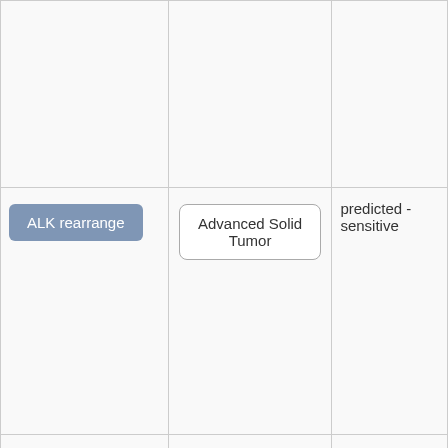| Biomarker | Indication | Sensitivity |
| --- | --- | --- |
|  |  |  |
| ALK rearrange | Advanced Solid Tumor | predicted - sensitive |
| ALK | (partially visible) | predicted - |